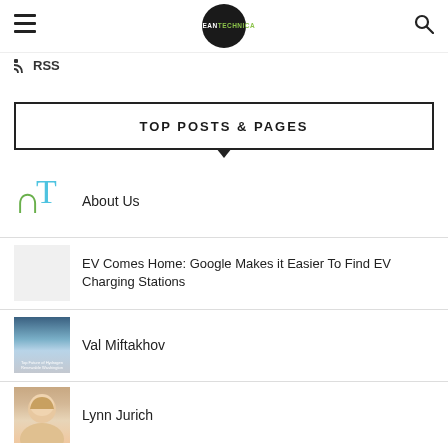CleanTechnica header with hamburger menu and search
RSS
TOP POSTS & PAGES
About Us
EV Comes Home: Google Makes it Easier To Find EV Charging Stations
Val Miftakhov
Lynn Jurich